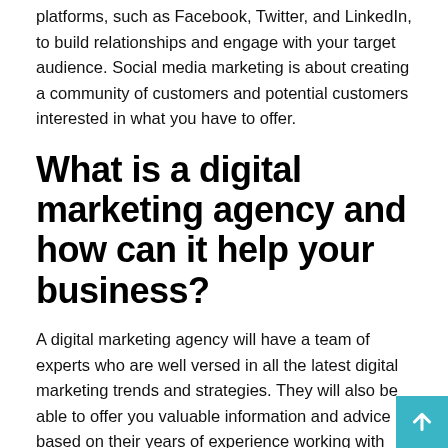platforms, such as Facebook, Twitter, and LinkedIn, to build relationships and engage with your target audience. Social media marketing is about creating a community of customers and potential customers interested in what you have to offer.
What is a digital marketing agency and how can it help your business?
A digital marketing agency will have a team of experts who are well versed in all the latest digital marketing trends and strategies. They will also be able to offer you valuable information and advice based on their years of experience working with companies like yours.
Additionally, a great digital marketing agency will be aware of all the latest changes in the digital landscape. They will know about new platforms and techniques that you may not be